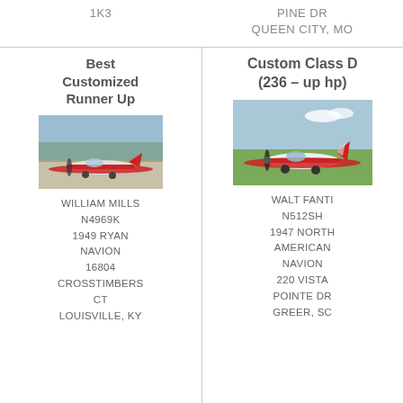1K3
PINE DR
QUEEN CITY, MO
Best Customized Runner Up
[Figure (photo): Red and white Ryan Navion airplane parked on tarmac]
WILLIAM MILLS
N4969K
1949 RYAN
NAVION
16804
CROSSTIMBERS
CT
LOUISVILLE, KY
Custom Class D
(236 – up hp)
[Figure (photo): Red and white 1947 North American Navion airplane on grass airfield]
WALT FANTI
N512SH
1947 NORTH
AMERICAN
NAVION
220 VISTA
POINTE DR
GREER, SC